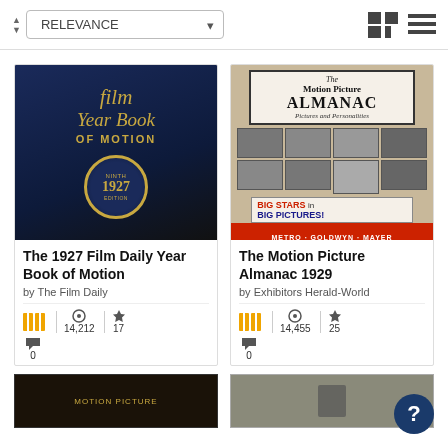[Figure (screenshot): Search toolbar with RELEVANCE sort dropdown and grid/list view icons]
[Figure (photo): Book cover: The 1927 Film Daily Year Book of Motion - dark blue cover with gold text and circular 1927 badge]
The 1927 Film Daily Year Book of Motion
by The Film Daily
14,212 views, 17 favorites, 0 comments
[Figure (photo): Book cover: The Motion Picture Almanac 1929 - cream cover with photos of movie stars and Metro-Goldwyn-Mayer text]
The Motion Picture Almanac 1929
by Exhibitors Herald-World
14,455 views, 25 favorites, 0 comments
[Figure (photo): Partial book cover: Motion Picture - dark brown cover, partially visible at bottom]
[Figure (photo): Partial book cover: gray/green cover with emblem, partially visible at bottom]